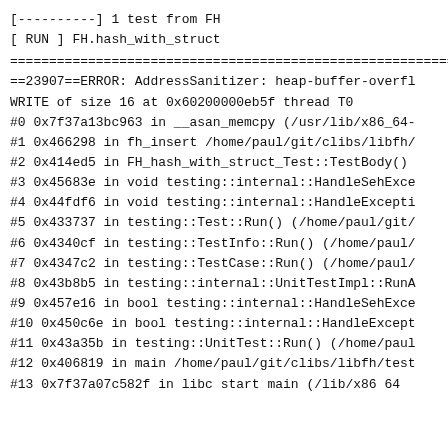[----------] 1 test from FH
[ RUN ] FH.hash_with_struct
================================================================
==23907==ERROR: AddressSanitizer: heap-buffer-overfl
WRITE of size 16 at 0x60200000eb5f thread T0
#0 0x7f37a13bc963 in __asan_memcpy (/usr/lib/x86_64-
#1 0x466298 in fh_insert /home/paul/git/clibs/libfh/
#2 0x414ed5 in FH_hash_with_struct_Test::TestBody()
#3 0x45683e in void testing::internal::HandleSehExce
#4 0x44fdf6 in void testing::internal::HandleExcepti
#5 0x433737 in testing::Test::Run() (/home/paul/git/
#6 0x4340cf in testing::TestInfo::Run() (/home/paul/
#7 0x4347c2 in testing::TestCase::Run() (/home/paul/
#8 0x43b8b5 in testing::internal::UnitTestImpl::RunA
#9 0x457e16 in bool testing::internal::HandleSehExce
#10 0x450c6e in bool testing::internal::HandleExcept
#11 0x43a35b in testing::UnitTest::Run() (/home/paul
#12 0x406819 in main /home/paul/git/clibs/libfh/test
#13 0x7f37a07c582f in  libc start main (/lib/x86 64